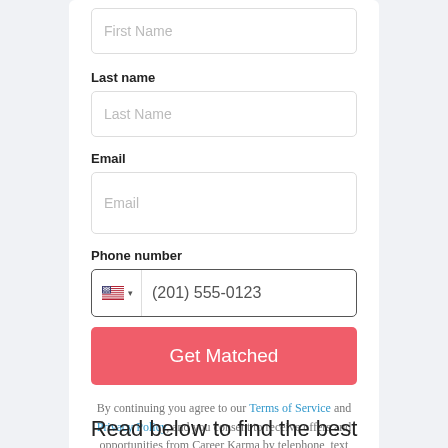First Name
Last name
Last Name
Email
Email
Phone number
(201) 555-0123
Get Matched
By continuing you agree to our Terms of Service and Privacy Policy, and you consent to receive offers and opportunities from Career Karma by telephone, text message, and email.
Read below to find the best